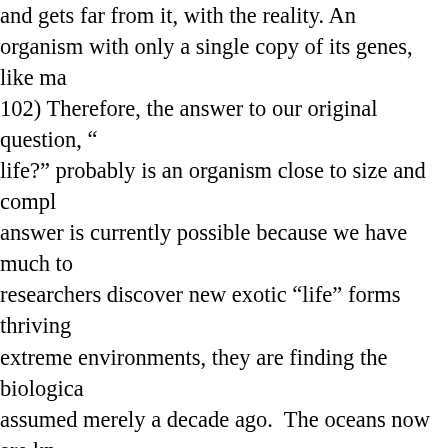...and gets far from it, with the reality. An organism with only a single copy of its genes, like ma... 102) Therefore, the answer to our original question, "...life?" probably is an organism close to size and compl... answer is currently possible because we have much to... researchers discover new exotic "life" forms thriving... extreme environments, they are finding the biologica... assumed merely a decade ago. The oceans now are kn... which form the base of the food chain on which fish a... estimated that small, free-living aquatic bacteria mak... the oceans (MacAyeal, 1995). Many highly complex an... and many "simple" animals thrive today. The earlies... of cyanobacteria, are quite similar structurally and bio... claimed they thrived almost as soon as earth formed (... at 3.5 billion years old, these earliest known forms of... remarkably diverse types of animals existed very early... different species have been found so far. A concern Co... diversification did these microorganisms remain esse... years? Such stasis, common in biology, is puzzling" (...